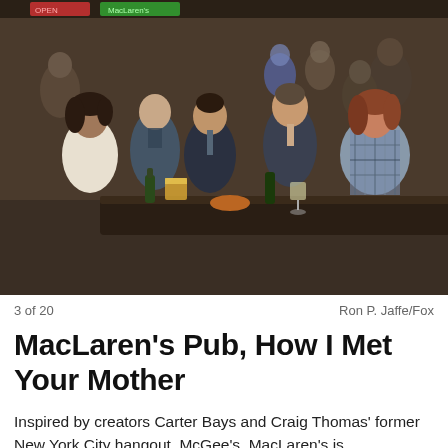[Figure (photo): Cast of How I Met Your Mother sitting at MacLaren's Pub bar table with drinks, five people in conversation in a busy bar setting]
3 of 20    Ron P. Jaffe/Fox
MacLaren's Pub, How I Met Your Mother
Inspired by creators Carter Bays and Craig Thomas' former New York City hangout, McGee's, MacLaren's is